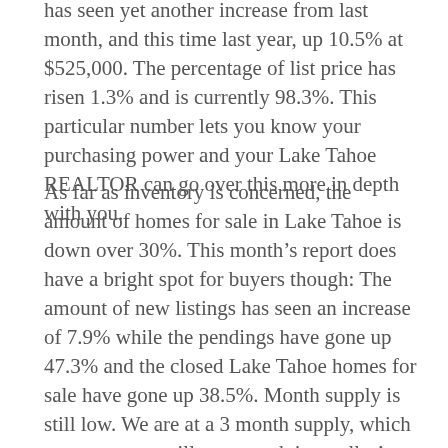has seen yet another increase from last month, and this time last year, up 10.5% at $525,000. The percentage of list price has risen 1.3% and is currently 98.3%. This particular number lets you know your purchasing power and your Lake Tahoe REALTOR can go over this more in depth with you.
As far as inventory is concerned, the amount of homes for sale in Lake Tahoe is down over 30%. This month’s report does have a bright spot for buyers though: The amount of new listings has seen an increase of 7.9% while the pendings have gone up 47.3% and the closed Lake Tahoe homes for sale have gone up 38.5%. Month supply is still low. We are at a 3 month supply, which means we are still very much in a seller’s market. This number has steadily gone down the last few months. If you are thinking of selling, trust us when we say: There is no better time